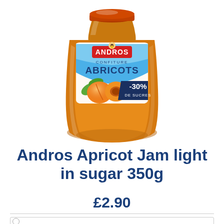[Figure (photo): Andros Confiture Abricots jar with -30% de sucres label, showing apricots on the label, orange jam visible through glass jar]
Andros Apricot Jam light in sugar 350g
£2.90